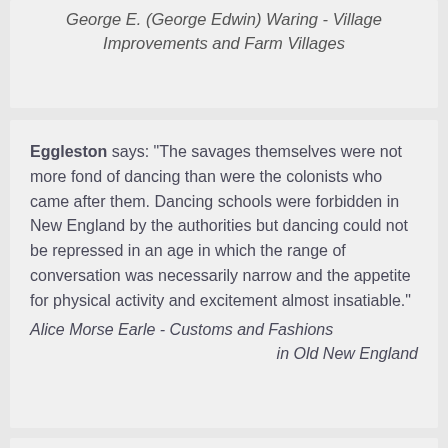George E. (George Edwin) Waring - Village Improvements and Farm Villages
Eggleston says: "The savages themselves were not more fond of dancing than were the colonists who came after them. Dancing schools were forbidden in New England by the authorities but dancing could not be repressed in an age in which the range of conversation was necessarily narrow and the appetite for physical activity and excitement almost insatiable." Alice Morse Earle - Customs and Fashions in Old New England